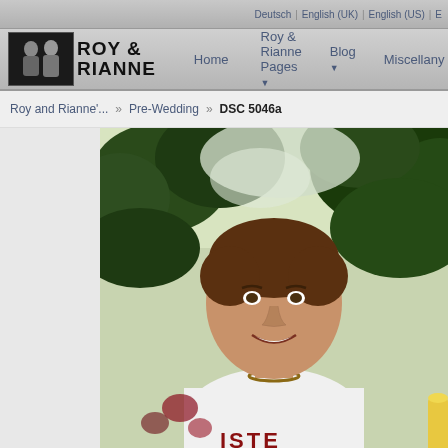Deutsch | English (UK) | English (US) | E...
[Figure (logo): Roy & Rianne logo with black-and-white couple photo and bold text]
Home | Roy & Rianne Pages | Blog | Miscellany
Roy and Rianne'... » Pre-Wedding » DSC 5046a
[Figure (photo): A smiling young man with short brown hair, wearing a white t-shirt with partial text 'ISTE', and a beaded necklace. He is photographed outdoors with green trees and bright sky in the background. Outdoor pre-wedding event photo.]